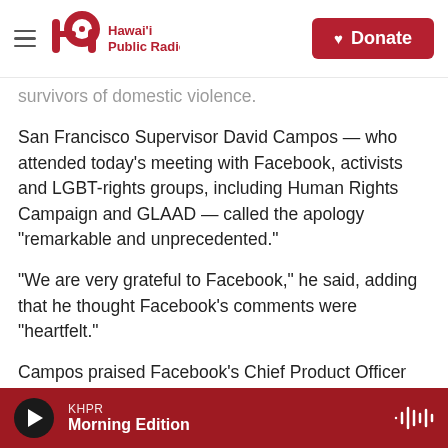Hawai'i Public Radio — Donate
survivors of domestic violence.
San Francisco Supervisor David Campos — who attended today's meeting with Facebook, activists and LGBT-rights groups, including Human Rights Campaign and GLAAD — called the apology "remarkable and unprecedented."
"We are very grateful to Facebook," he said, adding that he thought Facebook's comments were "heartfelt."
Campos praised Facebook's Chief Product Officer
KHPR — Morning Edition